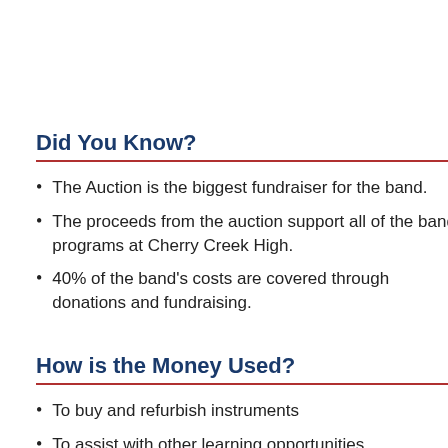Did You Know?
The Auction is the biggest fundraiser for the band.
The proceeds from the auction support all of the band programs at Cherry Creek High.
40% of the band's costs are covered through donations and fundraising.
How is the Money Used?
To buy and refurbish instruments
To assist with other learning opportunities